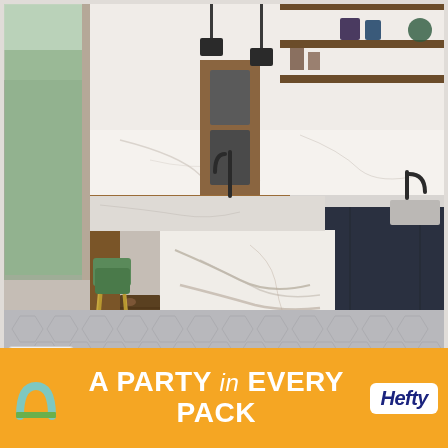[Figure (photo): Modern kitchen interior with marble island featuring white and grey veining, wooden bar counter with green upholstered bar stools with gold legs, dark navy cabinetry, open wooden shelving, marble backsplash, black faucets, and grey hexagonal tile flooring. Large windows on the left side.]
[Figure (infographic): Orange advertisement banner for Hefty brand. Shows the Hefty arch logo on the left and the Hefty brand name in a white box on the right. Text reads: A PARTY in EVERY PACK]
A PARTY in EVERY PACK